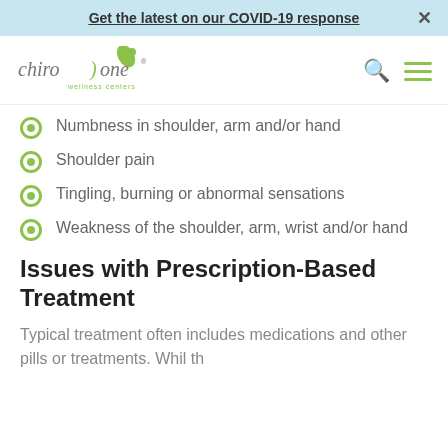Get the latest on our COVID-19 response ×
[Figure (logo): ChiroOne Wellness Centers logo with green figure and text]
Numbness in shoulder, arm and/or hand
Shoulder pain
Tingling, burning or abnormal sensations
Weakness of the shoulder, arm, wrist and/or hand
Issues with Prescription-Based Treatment
Typical treatment often includes medications and other pills or treatments. Whil th...